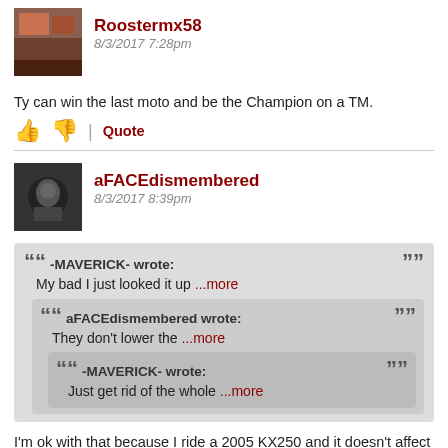Roostermx58
8/3/2017 7:28pm
Ty can win the last moto and be the Champion on a TM.
aFACEdismembered
8/3/2017 8:39pm
-MAVERICK- wrote: My bad I just looked it up ...more | aFACEdismembered wrote: They don't lower the ...more | -MAVERICK- wrote: Just get rid of the whole ...more
I'm ok with that because I ride a 2005 KX250 and it doesn't affect